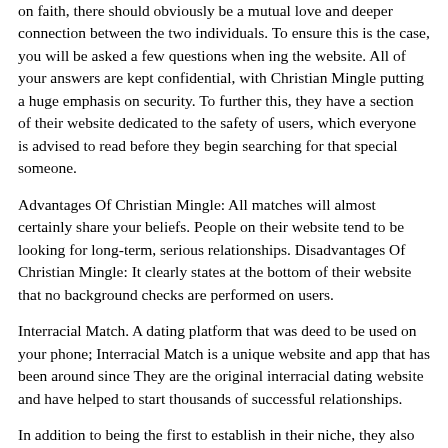on faith, there should obviously be a mutual love and deeper connection between the two individuals. To ensure this is the case, you will be asked a few questions when ing the website. All of your answers are kept confidential, with Christian Mingle putting a huge emphasis on security. To further this, they have a section of their website dedicated to the safety of users, which everyone is advised to read before they begin searching for that special someone.
Advantages Of Christian Mingle: All matches will almost certainly share your beliefs. People on their website tend to be looking for long-term, serious relationships. Disadvantages Of Christian Mingle: It clearly states at the bottom of their website that no background checks are performed on users.
Interracial Match. A dating platform that was deed to be used on your phone; Interracial Match is a unique website and app that has been around since They are the original interracial dating website and have helped to start thousands of successful relationships.
In addition to being the first to establish in their niche, they also provide a variety of useful services for finding the perfect match. Many of these stories come from couples that are now happily married. These comments are backed up by a large portfolio of reviews on the app store, an overwhelming amount of these being positive. Advantages Of Interracial Match: A range of features to